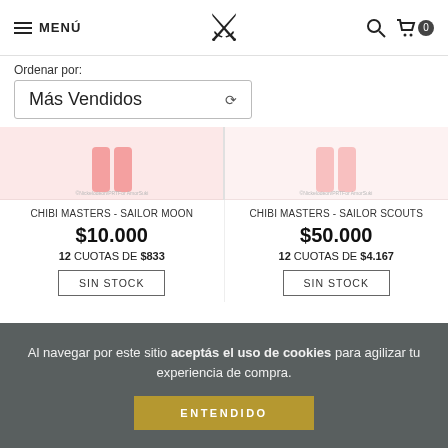MENÚ | [Logo] | [Search] [Cart 0]
Ordenar por:
Más Vendidos
[Figure (screenshot): Product image top portion for CHIBI MASTERS - SAILOR MOON, pink background]
CHIBI MASTERS - SAILOR MOON
$10.000
12 CUOTAS DE $833
SIN STOCK
[Figure (screenshot): Product image top portion for CHIBI MASTERS - SAILOR SCOUTS, pink background]
CHIBI MASTERS - SAILOR SCOUTS
$50.000
12 CUOTAS DE $4.167
SIN STOCK
Al navegar por este sitio aceptás el uso de cookies para agilizar tu experiencia de compra. ENTENDIDO